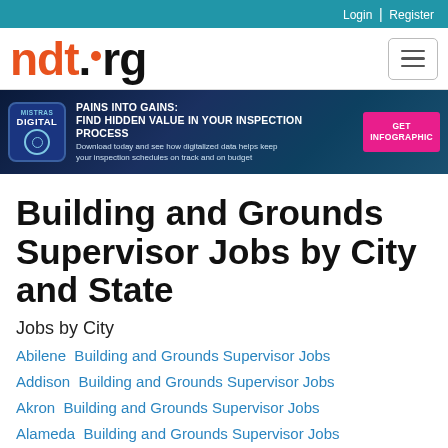Login | Register
[Figure (logo): ndt.org logo in orange and black with hamburger menu button]
[Figure (infographic): MISTRAS DIGITAL banner ad: PAINS INTO GAINS: FIND HIDDEN VALUE IN YOUR INSPECTION PROCESS. Download today and see how digitalized data helps keep your inspection schedules on track and on budget. GET INFOGRAPHIC button.]
Building and Grounds Supervisor Jobs by City and State
Jobs by City
Abilene  Building and Grounds Supervisor Jobs
Addison  Building and Grounds Supervisor Jobs
Akron  Building and Grounds Supervisor Jobs
Alameda  Building and Grounds Supervisor Jobs